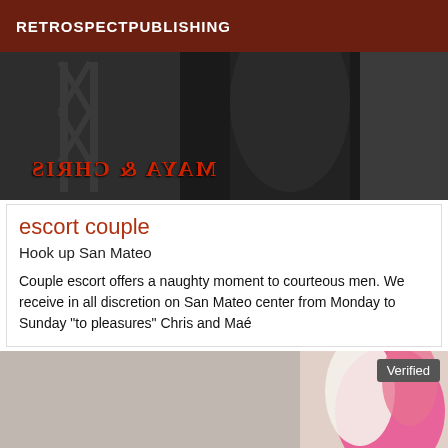RETROSPECTPUBLISHING
[Figure (photo): Black and white photo of a person from behind, with mirrored red text overlay reading 'MAYA & CHRIS']
escort couple
Hook up San Mateo
Couple escort offers a naughty moment to courteous men. We receive in all discretion on San Mateo center from Monday to Sunday "to pleasures" Chris and Maé
[Figure (photo): Partially visible photo showing pink fabric/flowers with a 'Verified' badge in the upper right corner]